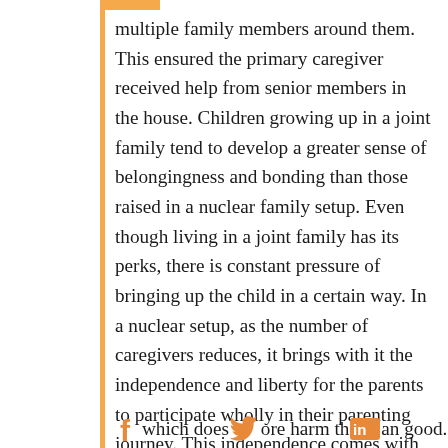multiple family members around them. This ensured the primary caregiver received help from senior members in the house. Children growing up in a joint family tend to develop a greater sense of belongingness and bonding than those raised in a nuclear family setup. Even though living in a joint family has its perks, there is constant pressure of bringing up the child in a certain way. In a nuclear setup, as the number of caregivers reduces, it brings with it the independence and liberty for the parents to participate wholly in their parenting journey. This independence comes with its own set of challenges. In their quest to be 'perfect parents', the couple finds themselves falling into a trap of 'comparison', 'guilt', and 'unfavourable expectations', which does more harm than good. You can see more